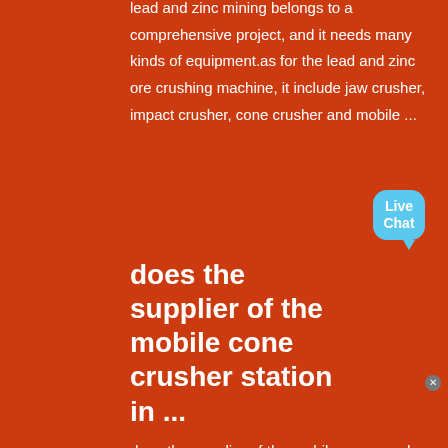lead and zinc mining belongs to a comprehensive project, and it needs many kinds of equipment.as for the lead and zinc ore crushing machine, it include jaw crusher, impact crusher, cone crusher and mobile ...
does the supplier of the mobile cone crusher station in ...
does the supplier of the mobile cone crusher station in egypt have lead zinc ore Mobile crushing plant, portable crushing plant, movable crushing plant manufacturer supplier in china, offering portable crushing plant, mobile crusher for construction, large capacity ...